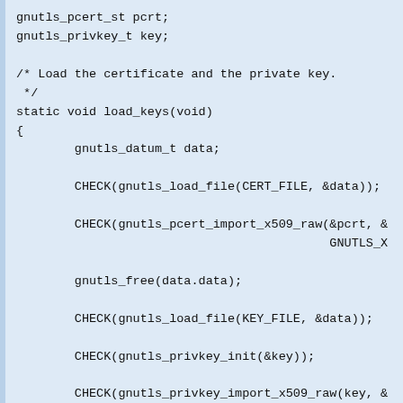[Figure (other): C source code snippet showing gnutls certificate and private key loading functions including load_keys() and beginning of main() function]